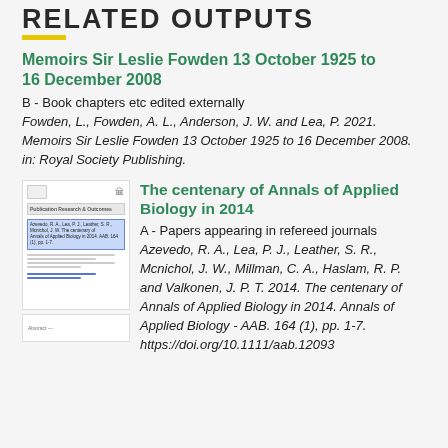RELATED OUTPUTS
Memoirs Sir Leslie Fowden 13 October 1925 to 16 December 2008
B - Book chapters etc edited externally
Fowden, L., Fowden, A. L., Anderson, J. W. and Lea, P. 2021. Memoirs Sir Leslie Fowden 13 October 1925 to 16 December 2008. in: Royal Society Publishing.
[Figure (screenshot): Thumbnail image of a research document page showing a title, highlighted text box, and underlined blue lines.]
The centenary of Annals of Applied Biology in 2014
A - Papers appearing in refereed journals
Azevedo, R. A., Lea, P. J., Leather, S. R., Mcnichol, J. W., Millman, C. A., Haslam, R. P. and Valkonen, J. P. T. 2014. The centenary of Annals of Applied Biology in 2014. Annals of Applied Biology - AAB. 164 (1), pp. 1-7. https://doi.org/10.1111/aab.12093